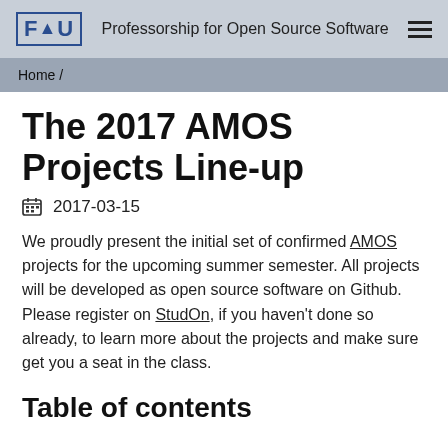FAU  Professorship for Open Source Software
Home /
The 2017 AMOS Projects Line-up
2017-03-15
We proudly present the initial set of confirmed AMOS projects for the upcoming summer semester. All projects will be developed as open source software on Github. Please register on StudOn, if you haven't done so already, to learn more about the projects and make sure get you a seat in the class.
Table of contents